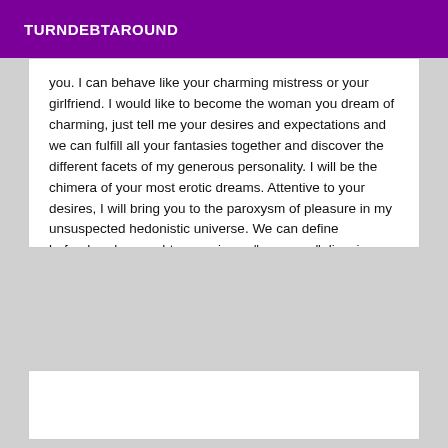TURNDEBTAROUND
you. I can behave like your charming mistress or your girlfriend. I would like to become the woman you dream of charming, just tell me your desires and expectations and we can fulfill all your fantasies together and discover the different facets of my generous personality. I will be the chimera of your most erotic dreams. Attentive to your desires, I will bring you to the paroxysm of pleasure in my unsuspected hedonistic universe. We can define beforehand a naughty senario my "very sexy" disguises and accessories are varied and await only you. PS:I WILL RECEIVE YOU IN A VERY DISCREET PLACE, VERY CLEAN AND FULL OF ELEGANCE WITH A SHOWER AND ALL THE COMFORT YOU COULD WISH FOR.